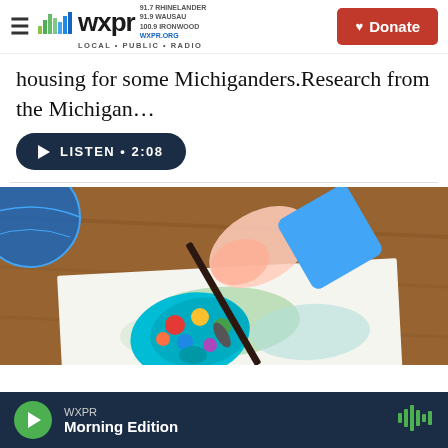WXPR LOCAL PUBLIC RADIO | 91.7 RHINELANDER 91.9 WAUSAU 100.9 IRONWOOD WXPR.ORG | Donate
housing for some Michiganders.Research from the Michigan…
[Figure (screenshot): Listen audio button with play icon, text: LISTEN • 2:08, dark navy rounded rectangle]
[Figure (photo): Close-up photo of a child's hand holding a paintbrush over a colorful paint palette, painting on white paper on a wooden table]
WXPR | Morning Edition | Play button